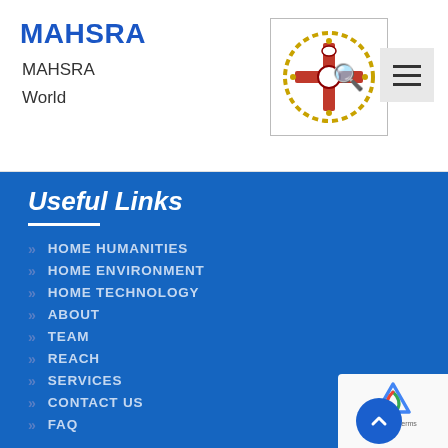MAHSRA
MAHSRA
World
Useful Links
HOME HUMANITIES
HOME ENVIRONMENT
HOME TECHNOLOGY
ABOUT
TEAM
REACH
SERVICES
CONTACT US
FAQ